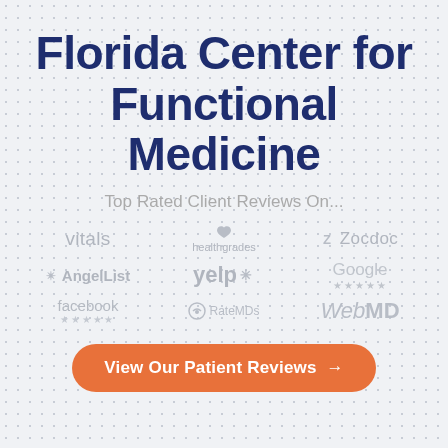Florida Center for Functional Medicine
Top Rated Client Reviews On...
[Figure (logo): Row of review platform logos: vitals, healthgrades, Zocdoc, AngelList, yelp, Google (with stars), facebook (with stars), RateMDs, WebMD — all in grey]
View Our Patient Reviews →